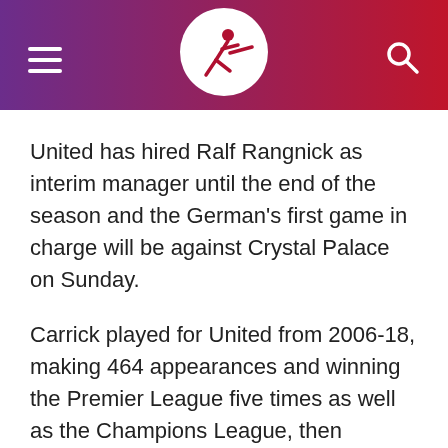[Figure (logo): Website header with purple-to-red gradient background, hamburger menu icon on left, circular logo with running figure icon in center, and search icon on right]
United has hired Ralf Rangnick as interim manager until the end of the season and the German's first game in charge will be against Crystal Palace on Sunday.
Carrick played for United from 2006-18, making 464 appearances and winning the Premier League five times as well as the Champions League, then became part of the coaching staff under first Jose Mourinho then Solskjaer.